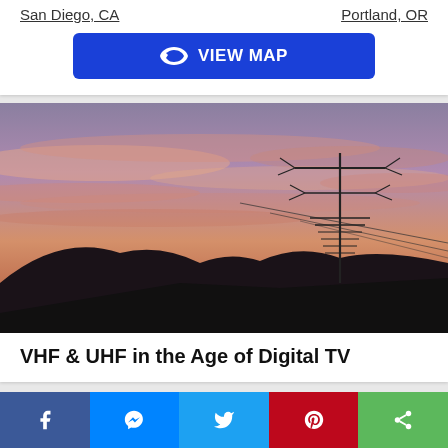San Diego, CA
Portland, OR
VIEW MAP
[Figure (photo): Outdoor TV antenna silhouetted against a dramatic pink and purple sunset sky with dark hillside and tree silhouettes in the background.]
VHF & UHF in the Age of Digital TV
Facebook | Messenger | Twitter | Pinterest | Share